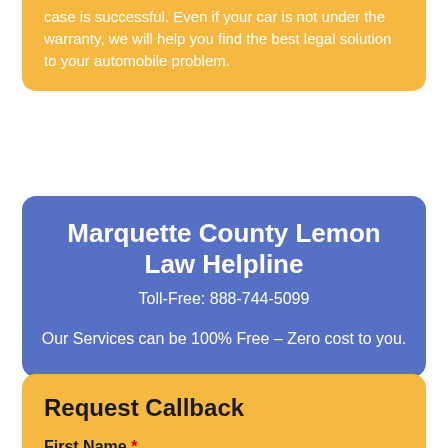case is successful. Even if your car is not under the warranty, we will help you find the best legal solution to your automobile problem.
Marquette County Lemon Law Helpline
Toll-Free: 888-744-5099
Our Services can be 100% Free – Zero cost to you.
Request Callback
First Name *